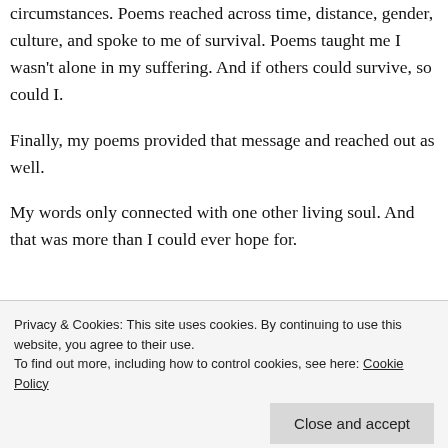circumstances. Poems reached across time, distance, gender, culture, and spoke to me of survival. Poems taught me I wasn't alone in my suffering. And if others could survive, so could I.
Finally, my poems provided that message and reached out as well.
My words only connected with one other living soul. And that was more than I could ever hope for.
Privacy & Cookies: This site uses cookies. By continuing to use this website, you agree to their use. To find out more, including how to control cookies, see here: Cookie Policy
Close and accept
knew they were not alone.